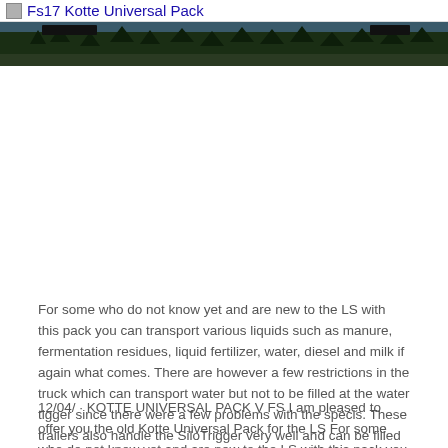Fs17 Kotte Universal Pack
[Figure (photo): Wide banner photograph showing trees and a forest landscape with a dark sky, appears to be a screenshot from Farming Simulator 17 game environment]
For some who do not know yet and are new to the LS with this pack you can transport various liquids such as manure, fermentation residues, liquid fertilizer, water, diesel and milk if again what comes. There are however a few restrictions in the truck which can transport water but not to be filled at the water tigger since there were a few problems with the specis. These trailers also handle the SiloTrigger very well and can be filled from above it is necessary to open the lid.
12/04/ · KOTTE UNIVERSAL PACK V FS I am pleased to offer you the old Kotte Universal Pack for the LS For some who do not know yet and are new to the LS with this pack you can transport various liquids such as manure, fermentation residues, liquid fertilizer, water, diesel and milk (if again what